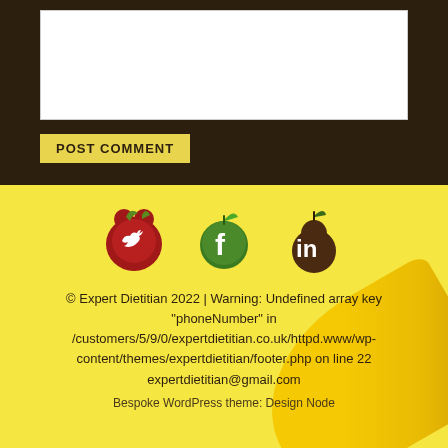[Figure (screenshot): White textarea input box for comment entry]
POST COMMENT
[Figure (illustration): Three social media icons styled as fruit: Twitter as a red tomato/apple, Facebook as a green apple, LinkedIn as a brown pear]
© Expert Dietitian 2022 | Warning: Undefined array key "phoneNumber" in /customers/5/9/0/expertdietitian.co.uk/httpd.www/wp-content/themes/expertdietitian/footer.php on line 22 expertdietitian@gmail.com
Bespoke WordPress theme: Design Node